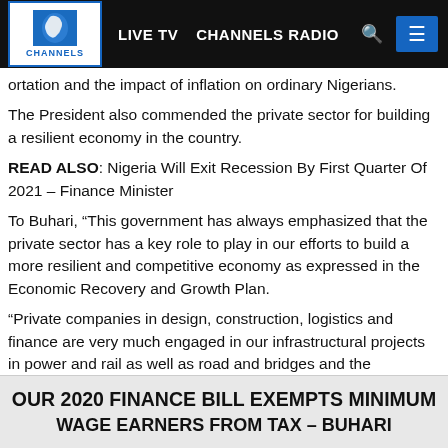LIVE TV  CHANNELS RADIO  [search]  [menu]
ortation and the impact of inflation on ordinary Nigerians.
The President also commended the private sector for building a resilient economy in the country.
READ ALSO: Nigeria Will Exit Recession By First Quarter Of 2021 – Finance Minister
To Buhari, “This government has always emphasized that the private sector has a key role to play in our efforts to build a more resilient and competitive economy as expressed in the Economic Recovery and Growth Plan.
“Private companies in design, construction, logistics and finance are very much engaged in our infrastructural projects in power and rail as well as road and bridges and the installation of broadband infrastructure which is an essential requirement if Nigeria is to participate actively and benefit from the 4th Industrial Revolution.”
SEE FULL STATEMENT HERE:
OUR 2020 FINANCE BILL EXEMPTS MINIMUM WAGE EARNERS FROM TAX – BUHARI